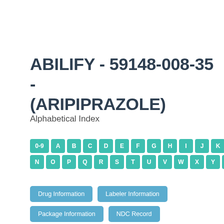ABILIFY - 59148-008-35 - (ARIPIPRAZOLE)
Alphabetical Index
0-9 A B C D E F G H I J K L M N O P Q R S T U V W X Y Z
Drug Information  Labeler Information  Package Information  NDC Record